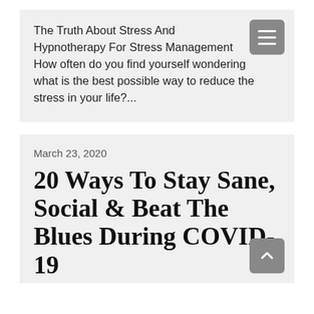The Truth About Stress And Hypnotherapy For Stress Management
How often do you find yourself wondering what is the best possible way to reduce the stress in your life?...
March 23, 2020
20 Ways To Stay Sane, Social & Beat The Blues During COVID-19
Rev. Jennifer would like everyone to know